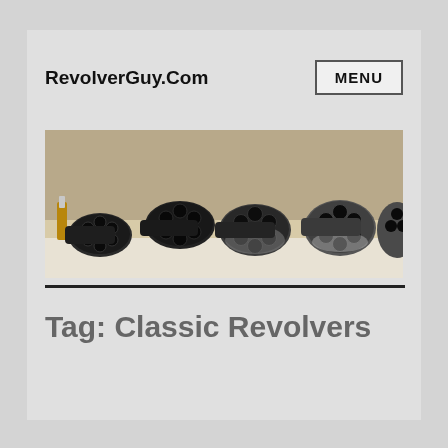RevolverGuy.Com
[Figure (photo): Multiple revolver cylinders with open chambers laid out on a surface, showing their barrel ends with ammunition visible, photographed from the front.]
Tag: Classic Revolvers